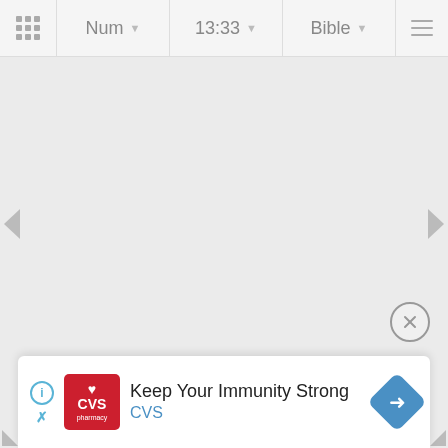Num  13:33  Bible
[Figure (screenshot): Bible app navigation bar with grid icon, book selector 'Num', chapter selector '13:33', translation selector 'Bible', and hamburger menu]
[Figure (other): Left navigation arrow (triangle pointing left) on side of page]
[Figure (other): Right navigation arrow (triangle pointing right) on side of page]
[Figure (other): Close (X) button circle in lower right area]
[Figure (other): CVS Pharmacy advertisement banner: 'Keep Your Immunity Strong' with CVS logo and navigation arrow]
Keep Your Immunity Strong
CVS